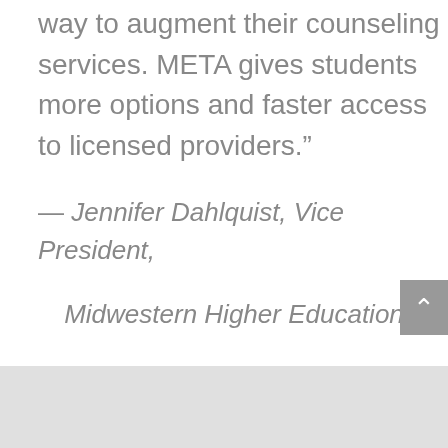way to augment their counseling services. META gives students more options and faster access to licensed providers.”
— Jennifer Dahlquist, Vice President, Midwestern Higher Education Compact